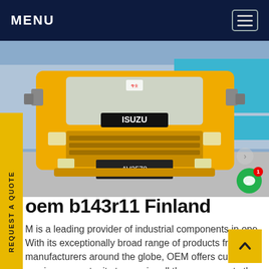MENU
[Figure (photo): Front view of a yellow Isuzu truck parked in a yard with Chinese signage in the background. License plate reads AV2578.]
oem b143r11 Finland
M is a leading provider of industrial components in ope. With its exceptionally broad range of products from top manufacturers around the globe, OEM offers customers a unique opportunity to acquire all the components they require from a single supplier.Get price